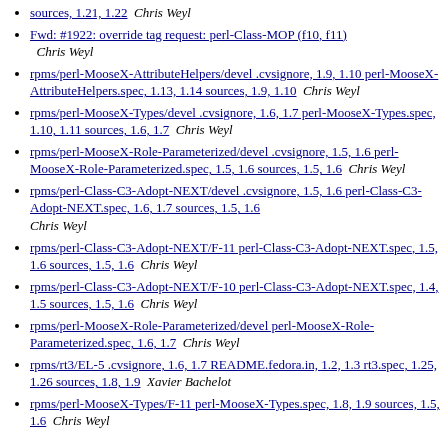sources, 1.21, 1.22  Chris Weyl
Fwd: #1922: override tag request: perl-Class-MOP (f10, f11)  Chris Weyl
rpms/perl-MooseX-AttributeHelpers/devel .cvsignore, 1.9, 1.10 perl-MooseX-AttributeHelpers.spec, 1.13, 1.14 sources, 1.9, 1.10  Chris Weyl
rpms/perl-MooseX-Types/devel .cvsignore, 1.6, 1.7 perl-MooseX-Types.spec, 1.10, 1.11 sources, 1.6, 1.7  Chris Weyl
rpms/perl-MooseX-Role-Parameterized/devel .cvsignore, 1.5, 1.6 perl-MooseX-Role-Parameterized.spec, 1.5, 1.6 sources, 1.5, 1.6  Chris Weyl
rpms/perl-Class-C3-Adopt-NEXT/devel .cvsignore, 1.5, 1.6 perl-Class-C3-Adopt-NEXT.spec, 1.6, 1.7 sources, 1.5, 1.6  Chris Weyl
rpms/perl-Class-C3-Adopt-NEXT/F-11 perl-Class-C3-Adopt-NEXT.spec, 1.5, 1.6 sources, 1.5, 1.6  Chris Weyl
rpms/perl-Class-C3-Adopt-NEXT/F-10 perl-Class-C3-Adopt-NEXT.spec, 1.4, 1.5 sources, 1.5, 1.6  Chris Weyl
rpms/perl-MooseX-Role-Parameterized/devel perl-MooseX-Role-Parameterized.spec, 1.6, 1.7  Chris Weyl
rpms/rt3/EL-5 .cvsignore, 1.6, 1.7 README.fedora.in, 1.2, 1.3 rt3.spec, 1.25, 1.26 sources, 1.8, 1.9  Xavier Bachelot
rpms/perl-MooseX-Types/F-11 perl-MooseX-Types.spec, 1.8, 1.9 sources, 1.5, 1.6  Chris Weyl